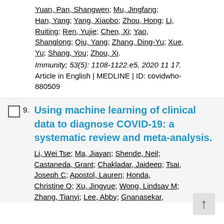Yuan, Pan, Shangwen; Mu, Jingfang; Han, Yang; Yang, Xiaobo; Zhou, Hong; Li, Ruiting; Ren, Yujie; Chen, Xi; Yao, Shanglong; Qiu, Yang; Zhang, Ding-Yu; Xue, Yu; Shang, You; Zhou, Xi.
Immunity; 53(5): 1108-1122.e5, 2020 11 17. Article in English | MEDLINE | ID: covidwho-880509
9. Using machine learning of clinical data to diagnose COVID-19: a systematic review and meta-analysis.
Li, Wei Tse; Ma, Jiayan; Shende, Neil; Castaneda, Grant; Chakladar, Jaideep; Tsai, Joseph C; Apostol, Lauren; Honda, Christine O; Xu, Jingyue; Wong, Lindsay M; Zhang, Tianyi; Lee, Abby; Gnanasekar,